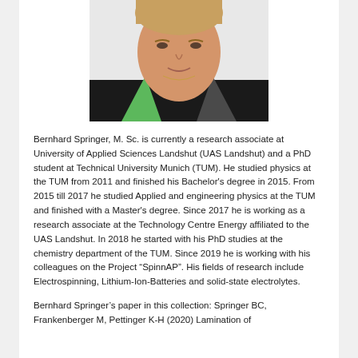[Figure (photo): Headshot photo of Bernhard Springer, a young man with light complexion wearing a dark jacket with a green collar, photographed from shoulders up against a neutral background.]
Bernhard Springer, M. Sc. is currently a research associate at University of Applied Sciences Landshut (UAS Landshut) and a PhD student at Technical University Munich (TUM). He studied physics at the TUM from 2011 and finished his Bachelor's degree in 2015. From 2015 till 2017 he studied Applied and engineering physics at the TUM and finished with a Master's degree. Since 2017 he is working as a research associate at the Technology Centre Energy affiliated to the UAS Landshut. In 2018 he started with his PhD studies at the chemistry department of the TUM. Since 2019 he is working with his colleagues on the Project “SpinnAP”. His fields of research include Electrospinning, Lithium-Ion-Batteries and solid-state electrolytes.
Bernhard Springer’s paper in this collection: Springer BC, Frankenberger M, Pettinger K-H (2020) Lamination of